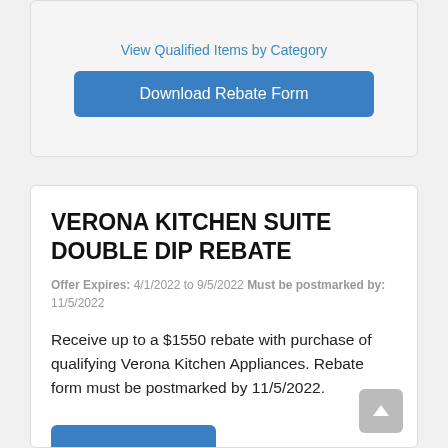View Qualified Items by Category
Download Rebate Form
VERONA KITCHEN SUITE DOUBLE DIP REBATE
Offer Expires: 4/1/2022 to 9/5/2022 Must be postmarked by: 11/5/2022
Receive up to a $1550 rebate with purchase of qualifying Verona Kitchen Appliances. Rebate form must be postmarked by 11/5/2022.